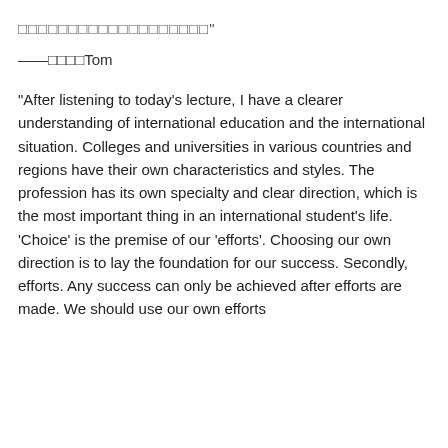□□□□□□□□□□□□□□□□□□□"
——□□□□Tom
"After listening to today's lecture, I have a clearer understanding of international education and the international situation. Colleges and universities in various countries and regions have their own characteristics and styles. The profession has its own specialty and clear direction, which is the most important thing in an international student's life. 'Choice' is the premise of our 'efforts'. Choosing our own direction is to lay the foundation for our success. Secondly, efforts. Any success can only be achieved after efforts are made. We should use our own efforts